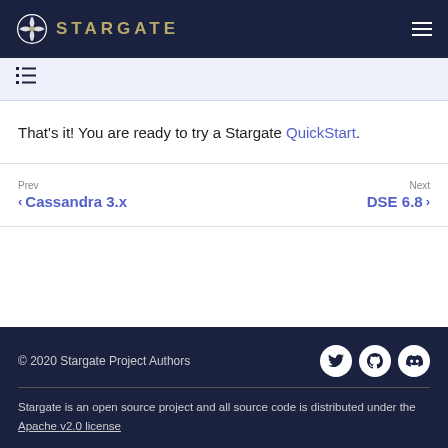STARGATE
That's it! You are ready to try a Stargate QuickStart.
Prev Cassandra 3.x    Next DSE 6.8
© 2020 Stargate Project Authors
Stargate is an open source project and all source code is distributed under the Apache v2.0 license